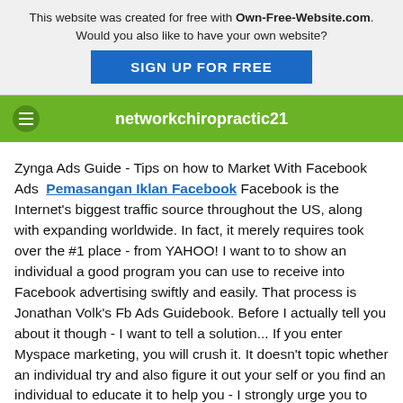This website was created for free with Own-Free-Website.com. Would you also like to have your own website? SIGN UP FOR FREE
networkchiropractic21
Zynga Ads Guide - Tips on how to Market With Facebook Ads  Pemasangan Iklan Facebook Facebook is the Internet's biggest traffic source throughout the US, along with expanding worldwide. In fact, it merely requires took over the #1 place - from YAHOO! I want to to show an individual a good program you can use to receive into Facebook advertising swiftly and easily. That process is Jonathan Volk's Fb Ads Guidebook. Before I actually tell you about it though - I want to tell a solution... If you enter Myspace marketing, you will crush it. It doesn't topic whether an individual try and also figure it out your self or you find an individual to educate it to help you - I strongly urge you to discover Facebook marketing. Pemasangan Iklan Facebook Right right now, everybody is trying to physique out Google AdWords as well as SEARCH